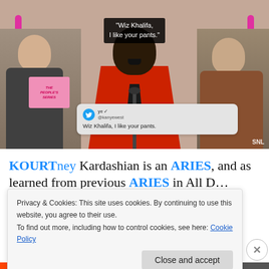[Figure (screenshot): Video screenshot showing a man in a red jacket at a podium with a subtitle overlay reading 'Wiz Khalifa, I like your pants.' A tweet card overlay shows the same text. Two other people visible on left and right sides. SNL watermark visible. Pink sign visible lower left.]
"Wiz Khalifa, I like your pants."
Wiz Khalifa, I like your pants.
KOURTney Kardashian is an ARIES, and as we've
Privacy & Cookies: This site uses cookies. By continuing to use this website, you agree to their use.
To find out more, including how to control cookies, see here: Cookie Policy
Close and accept